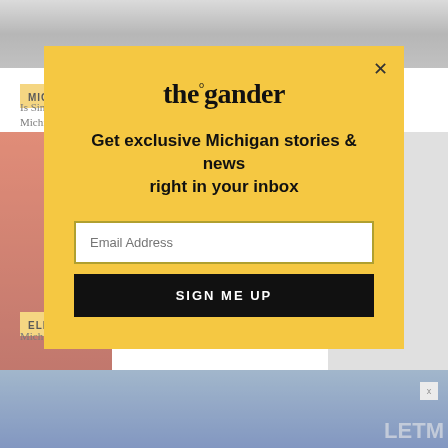[Figure (photo): Top cropped photo showing a person on cobblestone background, partially visible]
MICHIGAN LIFE
Is Singing to Your Sweetheart Really Illegal in Kalamazoo? Here Are Michigan's Seven Oddest Laws
[Figure (photo): Photo of a brick wall building, partially cropped on the left side]
[Figure (photo): Gray/white photo on the right side, partially visible]
ELE
Mich
[Figure (photo): Bottom photo showing people at what appears to be a protest with letters LETM visible]
[Figure (screenshot): Modal popup overlay for 'the gander' newsletter signup with yellow background, logo, headline, email input field, and sign up button]
Get exclusive Michigan stories & news right in your inbox